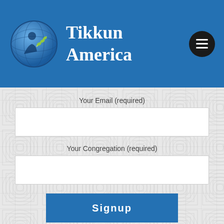[Figure (logo): Tikkun America logo with blue globe icon and white serif text reading 'Tikkun America' on blue header background]
Your Email (required)
Your Congregation (required)
Signup